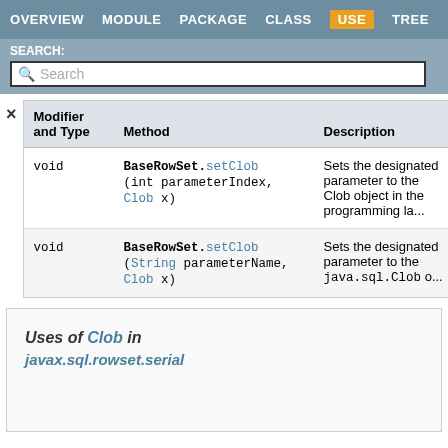OVERVIEW  MODULE  PACKAGE  CLASS  USE  TREE
SEARCH:
| Modifier and Type | Method | Description |
| --- | --- | --- |
| void | BaseRowSet.setClob(int parameterIndex, Clob x) | Sets the designated parameter to the Clob object in the Java programming la... |
| void | BaseRowSet.setClob(String parameterName, Clob x) | Sets the designated parameter to the java.sql.Clob o... |
Uses of Clob in javax.sql.rowset.serial